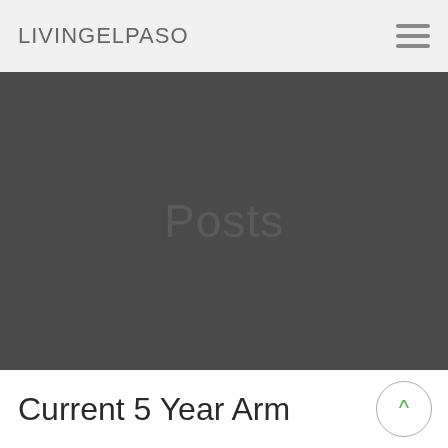LIVINGELPASO
[Figure (illustration): Dark gray hero banner with the word 'Posts' overlaid in a slightly lighter gray, large font, centered.]
Current 5 Year Arm